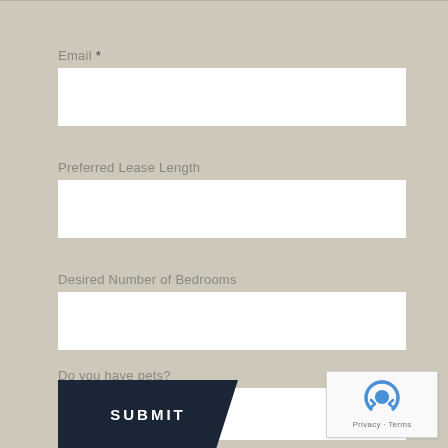Email *
Preferred Lease Length
Desired Number of Bedrooms
Do you have pets?
SUBMIT